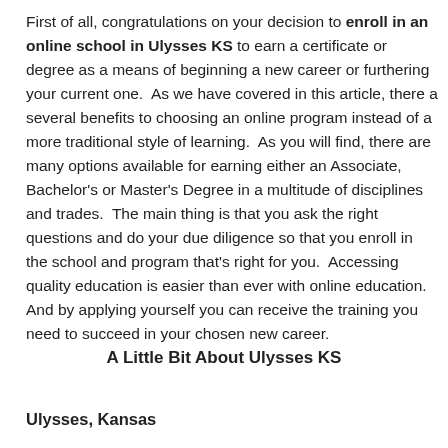First of all, congratulations on your decision to enroll in an online school in Ulysses KS to earn a certificate or degree as a means of beginning a new career or furthering your current one.  As we have covered in this article, there a several benefits to choosing an online program instead of a more traditional style of learning.  As you will find, there are many options available for earning either an Associate, Bachelor's or Master's Degree in a multitude of disciplines and trades.  The main thing is that you ask the right questions and do your due diligence so that you enroll in the school and program that's right for you.  Accessing quality education is easier than ever with online education.  And by applying yourself you can receive the training you need to succeed in your chosen new career.
A Little Bit About Ulysses KS
Ulysses, Kansas